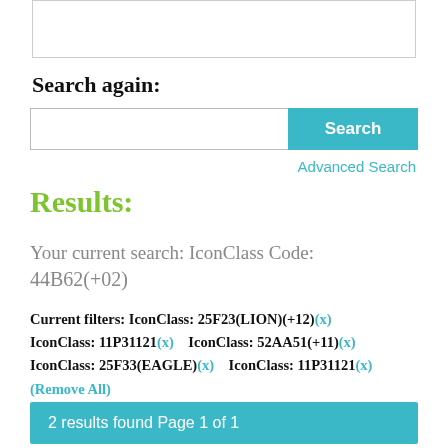Search again:
[Figure (screenshot): Search input box with a blue Search button]
Advanced Search
Results:
Your current search: IconClass Code: 44B62(+02)
Current filters: IconClass: 25F23(LION)(+12)(x) IconClass: 11P31121(x)    IconClass: 52AA51(+11)(x) IconClass: 25F33(EAGLE)(x)    IconClass: 11P31121(x) (Remove All)
2 results found Page 1 of 1